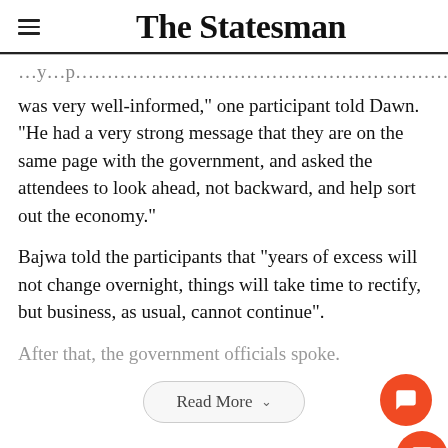The Statesman
was very well-informed,” one participant told Dawn. “He had a very strong message that they are on the same page with the government, and asked the attendees to look ahead, not backward, and help sort out the economy.”
Bajwa told the participants that “years of excess will not change overnight, things will take time to rectify, but business, as usual, cannot continue”.
After that, the government officials spoke.
Read More